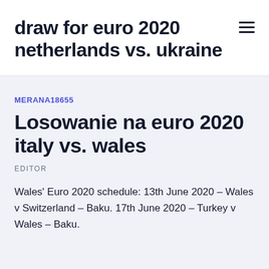draw for euro 2020 netherlands vs. ukraine
MERANA18655
Losowanie na euro 2020 italy vs. wales
EDITOR
Wales' Euro 2020 schedule: 13th June 2020 – Wales v Switzerland – Baku. 17th June 2020 – Turkey v Wales – Baku.